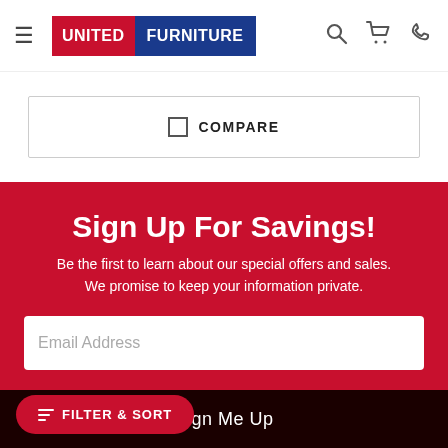[Figure (logo): United Furniture logo with UNITED in red background and FURNITURE in blue background, white bold text]
COMPARE
Sign Up For Savings!
Be the first to learn about our special offers and sales. We promise to keep your information private.
Email Address
FILTER & SORT
Sign Me Up